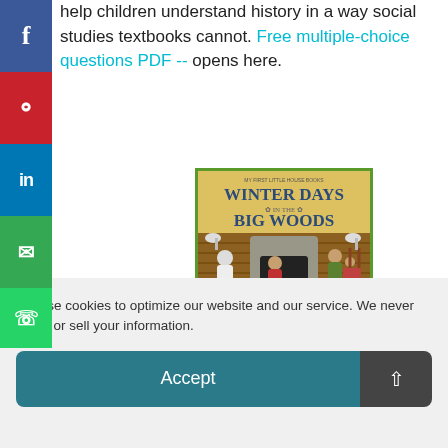help children understand history in a way social studies textbooks cannot. Free multiple-choice questions PDF -- opens here.
[Figure (photo): Book cover of 'Winter Days in the Big Woods' from the My First Little House Books series, showing a family gathered by a fireplace in a log cabin.]
We use cookies to optimize our website and our service. We never share or sell your information.